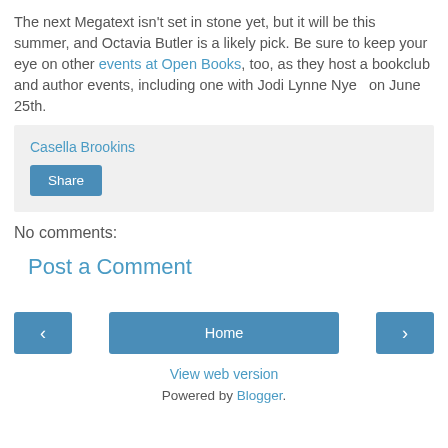The next Megatext isn't set in stone yet, but it will be this summer, and Octavia Butler is a likely pick. Be sure to keep your eye on other events at Open Books, too, as they host a bookclub and author events, including one with Jodi Lynne Nye  on June 25th.
Casella Brookins
Share
No comments:
Post a Comment
‹
Home
›
View web version
Powered by Blogger.